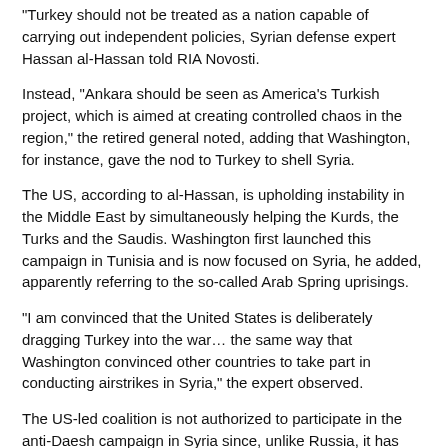“Turkey should not be treated as a nation capable of carrying out independent policies, Syrian defense expert Hassan al-Hassan told RIA Novosti.
Instead, “Ankara should be seen as America’s Turkish project, which is aimed at creating controlled chaos in the region,” the retired general noted, adding that Washington, for instance, gave the nod to Turkey to shell Syria.
The US, according to al-Hassan, is upholding instability in the Middle East by simultaneously helping the Kurds, the Turks and the Saudis. Washington first launched this campaign in Tunisia and is now focused on Syria, he added, apparently referring to the so-called Arab Spring uprisings.
“I am convinced that the United States is deliberately dragging Turkey into the war… the same way that Washington convinced other countries to take part in conducting airstrikes in Syria,” the expert observed.
The US-led coalition is not authorized to participate in the anti-Daesh campaign in Syria since, unlike Russia, it has never been formally invited by the state to assist Damascus-led forces with its